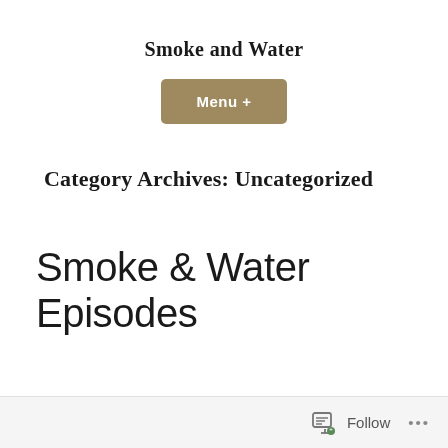Smoke and Water
[Figure (other): Menu + button, a rounded rectangle button with tan/khaki background color and white text reading 'Menu +']
Category Archives: Uncategorized
Smoke & Water Episodes
Follow ...